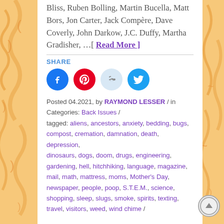Bliss, Ruben Bolling, Martin Bucella, Matt Bors, Jon Carter, Jack Compère, Dave Coverly, John Darkow, J.C. Duffy, Martha Gradisher, …[ Read More ]
SHARE
[Figure (infographic): Four social media share buttons: Facebook (blue circle), Pinterest (red circle), Reddit (light blue circle), Twitter (cyan circle)]
Posted 04.2021, by RAYMOND LESSER / in Categories: Back Issues / tagged: aliens, ancestors, anxiety, bedding, bugs, compost, cremation, damnation, death, depression, dinosaurs, dogs, doom, drugs, engineering, gardening, hell, hitchhiking, language, magazine, mail, math, mattress, moms, Mother's Day, newspaper, people, poop, S.T.E.M., science, shopping, sleep, slugs, smoke, spirits, texting, travel, visitors, weed, wind chime /